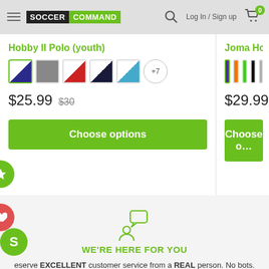Soccer Command — Log In / Sign up — Cart (0)
Hobby II Polo (youth)
$25.99  $30
Choose options
Joma Hobby Polo Shi…
$29.99  $34.99
Choose o…
[Figure (logo): Person with chat bubble icon in green]
WE'RE HERE FOR YOU
eserve EXCELLENT customer service from a REAL person. No bots. No buried phone number. No joke.